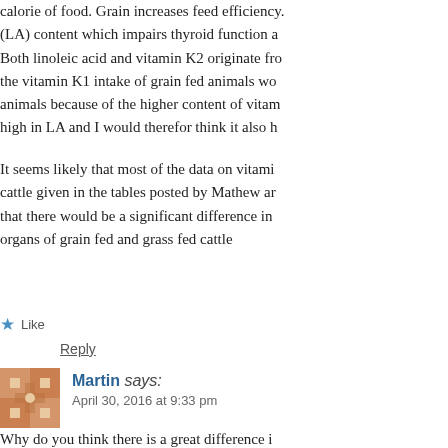calorie of food. Grain increases feed efficiency. (LA) content which impairs thyroid function a. Both linoleic acid and vitamin K2 originate fro the vitamin K1 intake of grain fed animals wo animals because of the higher content of vitam high in LA and I would therefor think it also h
It seems likely that most of the data on vitami cattle given in the tables posted by Mathew ar that there would be a significant difference in organs of grain fed and grass fed cattle
★ Like
Reply
[Figure (illustration): Avatar image for commenter Martin - decorative geometric pattern in orange/brown tones]
Martin says:
April 30, 2016 at 9:33 pm
Why do you think there is a great difference i